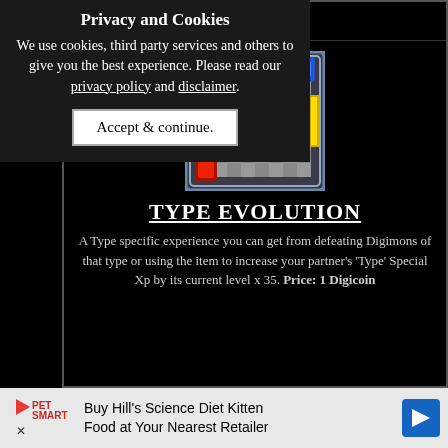Privacy and Cookies
We use cookies, third party services and others to give you the best experience. Please read our privacy policy and disclaimer.
Accept & continue.
[Figure (illustration): Pixel art Digimon item card with a red Digimon face on a grey checkerboard background, framed in blue/grey border with yellow side accents and colored gems]
TYPE EVOLUTION
A Type specific experience you can get from defeating Digimons of that type or using the item to increase your partner's 'Type' Special Xp by its current level x 35. Price: 1 Digicoin
[Figure (infographic): Advertisement: Buy Hill's Science Diet Kitten Food at Your Nearest Retailer — PetSmart logo and blue arrow icon]